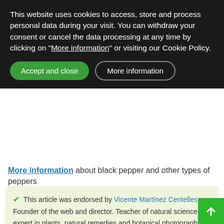This website uses cookies to access, store and process personal data during your visit. You can withdraw your consent or cancel the data processing at any time by clicking on "More information" or visiting our Cookie Policy.
Accept and close | More information
More information about black pepper and other types of peppers
✔ This article was endorsed by Vicente Martínez Centelles - Founder of the web and director. Teacher of natural sciences, expert in plants, natural remedies and botanical photography.
Written by Editorial
Botanical-online team in charge of content writing
📅 19 May, 2021